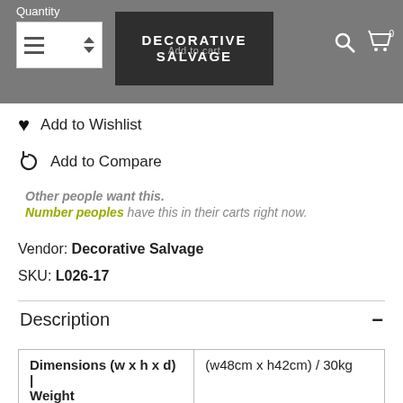[Figure (screenshot): Navigation bar with quantity selector, Decorative Salvage logo, Add to Cart button, search icon, and cart icon with 0 badge]
Add to Wishlist
Add to Compare
Other people want this. Number peoples have this in their carts right now.
Vendor: Decorative Salvage
SKU: L026-17
Description
| Dimensions (w x h x d) | Weight |  |
| --- | --- |
| Dimensions (w x h x d) | Weight | (w48cm x h42cm) / 30kg |